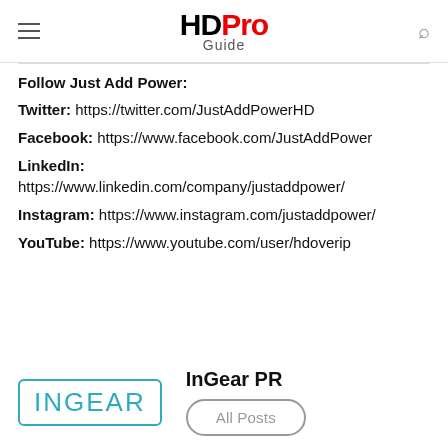HD Pro Guide
Follow Just Add Power:
Twitter: https://twitter.com/JustAddPowerHD
Facebook: https://www.facebook.com/JustAddPower
LinkedIn: https://www.linkedin.com/company/justaddpower/
Instagram: https://www.instagram.com/justaddpower/
YouTube: https://www.youtube.com/user/hdoverip
[Figure (logo): InGear logo in teal/cyan text with border]
InGear PR
All Posts